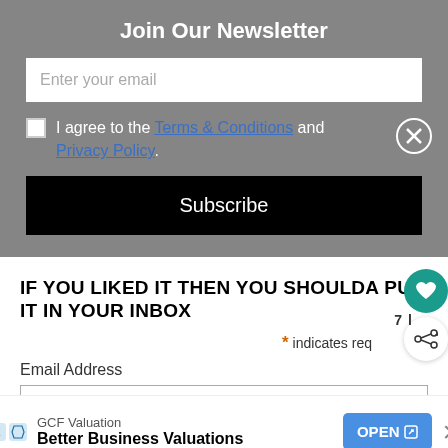Join Our Newsletter
Enter your email
I agree to the Terms & Conditions and Privacy Policy.
Subscribe
IF YOU LIKED IT THEN YOU SHOULDA PUT IT IN YOUR INBOX
* indicates req
Email Address
GCF Valuation
Better Business Valuations
OPEN